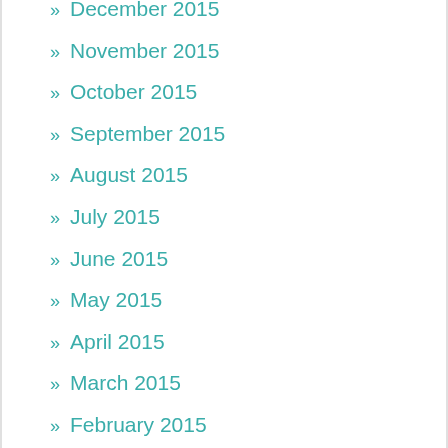» December 2015
» November 2015
» October 2015
» September 2015
» August 2015
» July 2015
» June 2015
» May 2015
» April 2015
» March 2015
» February 2015
» January 2015
» December 2014
» November 2014
» October 2014
» June 2014